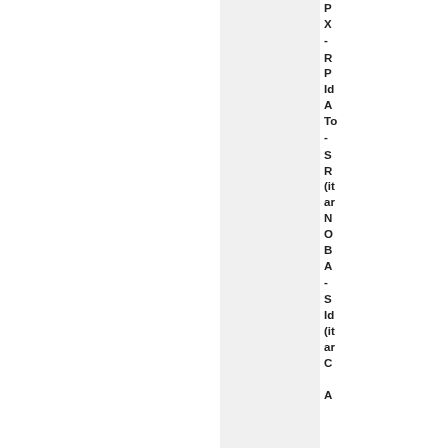PX - RPId ATc - SR (i a N O B A - S Id (i a C A